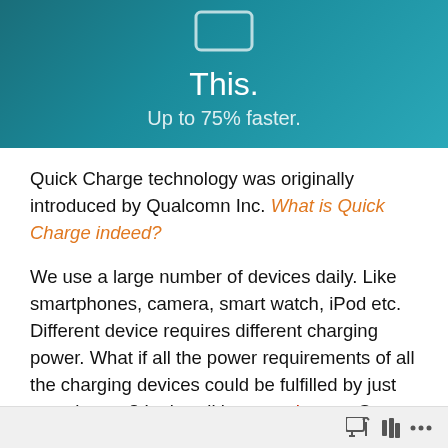[Figure (illustration): Dark teal hero banner with a phone/tablet icon outline at top and centered white text: 'This.' and 'Up to 75% faster.']
Quick Charge technology was originally introduced by Qualcomn Inc. What is Quick Charge indeed?
We use a large number of devices daily. Like smartphones, camera, smart watch, iPod etc. Different device requires different charging power. What if all the power requirements of all the charging devices could be fulfilled by just one charger? Let's call it smart charger. So what does it exactly do? It detects only charging current and
toolbar icons